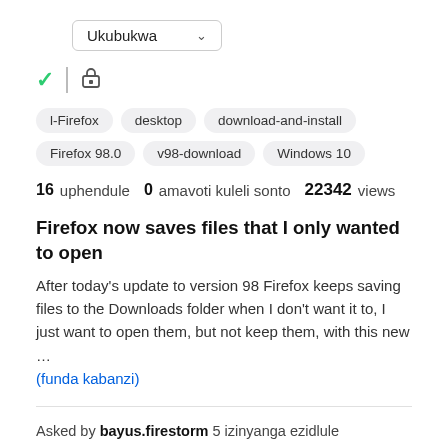Ukubukwa (dropdown)
[Figure (screenshot): Green checkmark icon and a lock icon separated by a vertical divider]
l-Firefox
desktop
download-and-install
Firefox 98.0
v98-download
Windows 10
16 uphendule   0  amavoti kuleli sonto   22342  views
Firefox now saves files that I only wanted to open
After today's update to version 98 Firefox keeps saving files to the Downloads folder when I don't want it to, I just want to open them, but not keep them, with this new …
(funda kabanzi)
Asked by bayus.firestorm 5 izinyanga ezidlule
Answered by bayus.firestorm 5 izinyanga ezidlule